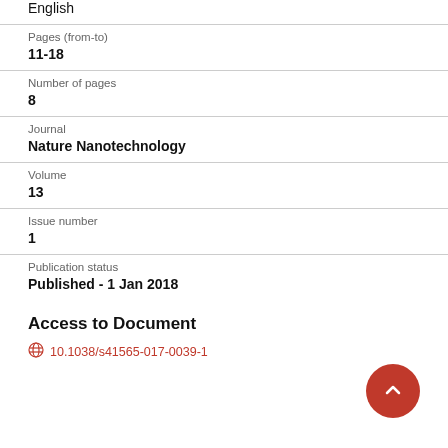English
Pages (from-to)
11-18
Number of pages
8
Journal
Nature Nanotechnology
Volume
13
Issue number
1
Publication status
Published - 1 Jan 2018
Access to Document
10.1038/s41565-017-0039-1